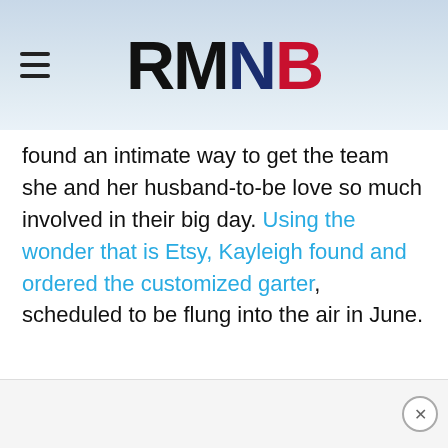RMNB
found an intimate way to get the team she and her husband-to-be love so much involved in their big day. Using the wonder that is Etsy, Kayleigh found and ordered the customized garter, scheduled to be flung into the air in June.